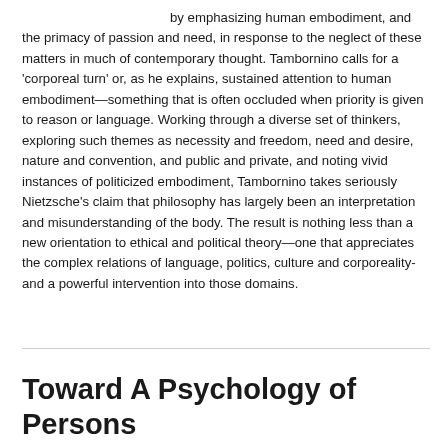by emphasizing human embodiment, and the primacy of passion and need, in response to the neglect of these matters in much of contemporary thought. Tambornino calls for a 'corporeal turn' or, as he explains, sustained attention to human embodiment—something that is often occluded when priority is given to reason or language. Working through a diverse set of thinkers, exploring such themes as necessity and freedom, need and desire, nature and convention, and public and private, and noting vivid instances of politicized embodiment, Tambornino takes seriously Nietzsche's claim that philosophy has largely been an interpretation and misunderstanding of the body. The result is nothing less than a new orientation to ethical and political theory—one that appreciates the complex relations of language, politics, culture and corporeality-and a powerful intervention into those domains.
Toward A Psychology of Persons